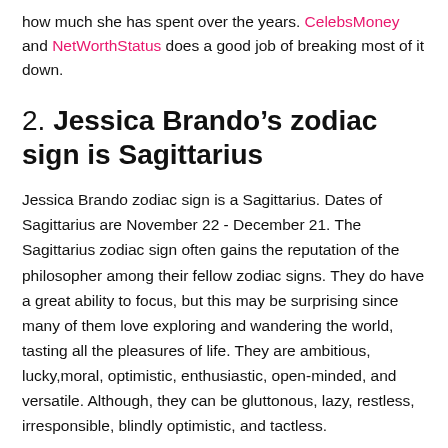how much she has spent over the years. CelebsMoney and NetWorthStatus does a good job of breaking most of it down.
2. Jessica Brando’s zodiac sign is Sagittarius
Jessica Brando zodiac sign is a Sagittarius. Dates of Sagittarius are November 22 - December 21. The Sagittarius zodiac sign often gains the reputation of the philosopher among their fellow zodiac signs. They do have a great ability to focus, but this may be surprising since many of them love exploring and wandering the world, tasting all the pleasures of life. They are ambitious, lucky,moral, optimistic, enthusiastic, open-minded, and versatile. Although, they can be gluttonous, lazy, restless, irresponsible, blindly optimistic, and tactless.